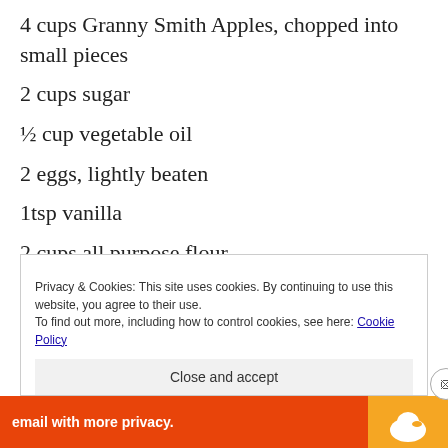4 cups Granny Smith Apples, chopped into small pieces
2 cups sugar
½ cup vegetable oil
2 eggs, lightly beaten
1tsp vanilla
2 cups all purpose flour
2 tsp baking powder
½ tsp baking soda
Privacy & Cookies: This site uses cookies. By continuing to use this website, you agree to their use. To find out more, including how to control cookies, see here: Cookie Policy
Close and accept